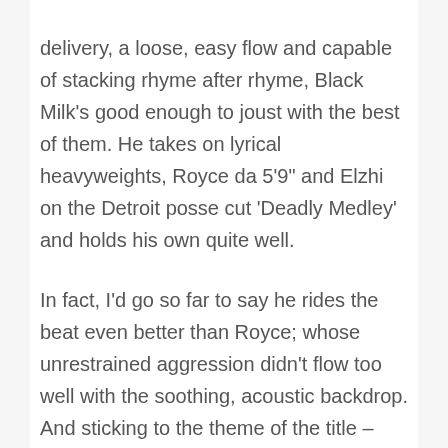delivery, a loose, easy flow and capable of stacking rhyme after rhyme, Black Milk's good enough to joust with the best of them. He takes on lyrical heavyweights, Royce da 5'9" and Elzhi on the Detroit posse cut 'Deadly Medley' and holds his own quite well.

In fact, I'd go so far to say he rides the beat even better than Royce; whose unrestrained aggression didn't flow too well with the soothing, acoustic backdrop. And sticking to the theme of the title – Album of the Year – Black Milk deviates from vicious battle rhymes and examines